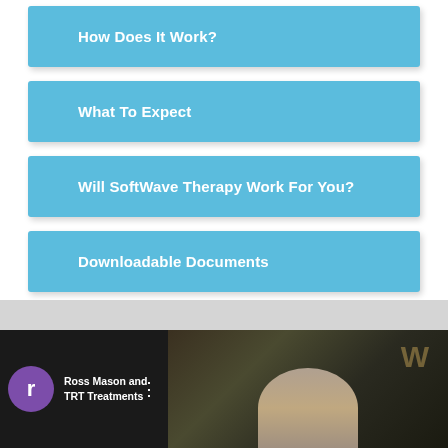How Does It Work?
What To Expect
Will SoftWave Therapy Work For You?
Downloadable Documents
[Figure (screenshot): Video thumbnail showing Ross Mason and TRT Treatments with a purple avatar circle with letter r, and a three-dot menu icon on dark background]